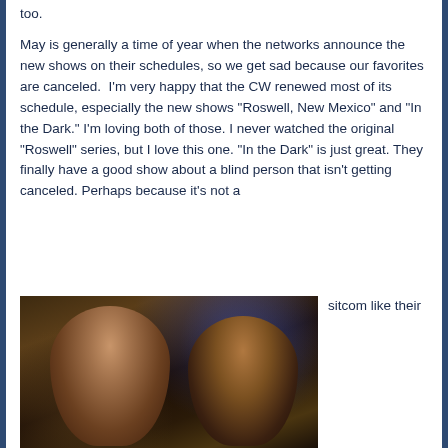too.
May is generally a time of year when the networks announce the new shows on their schedules, so we get sad because our favorites are canceled.  I'm very happy that the CW renewed most of its schedule, especially the new shows “Roswell, New Mexico” and “In the Dark.” I'm loving both of those. I never watched the original “Roswell” series, but I love this one. “In the Dark” is just great. They finally have a good show about a blind person that isn’t getting canceled. Perhaps because it’s not a sitcom like their
[Figure (photo): Two people in a dark outdoor scene, a woman with long dark hair smiling and a person wearing a yellow/orange beanie hat, appearing to embrace or interact closely, with blue-lit background.]